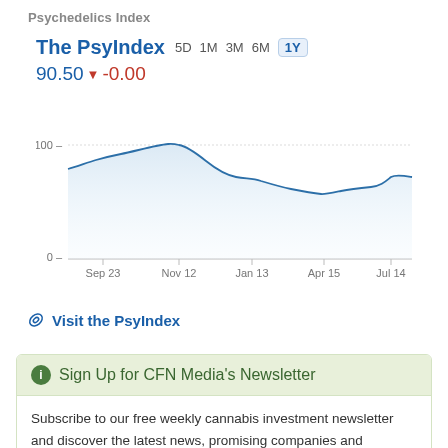Psychedelics Index
[Figure (line-chart): The PsyIndex]
90.50 ▼ -0.00
Visit the PsyIndex
Sign Up for CFN Media's Newsletter
Subscribe to our free weekly cannabis investment newsletter and discover the latest news, promising companies and opportunities in the space.
Name